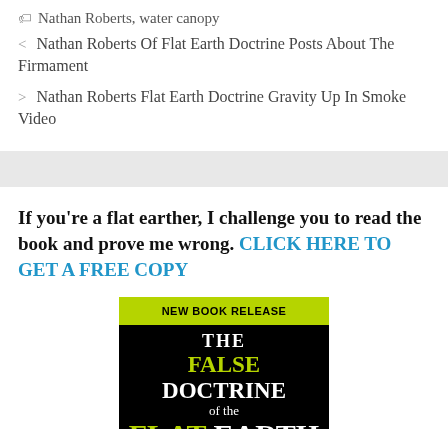Nathan Roberts, water canopy
< Nathan Roberts Of Flat Earth Doctrine Posts About The Firmament
> Nathan Roberts Flat Earth Doctrine Gravity Up In Smoke Video
If you're a flat earther, I challenge you to read the book and prove me wrong. CLICK HERE TO GET A FREE COPY
[Figure (illustration): Book cover for 'The False Doctrine of the Flat Earth' showing a black background with a lime green banner at top reading NEW BOOK RELEASE, white and green title text.]